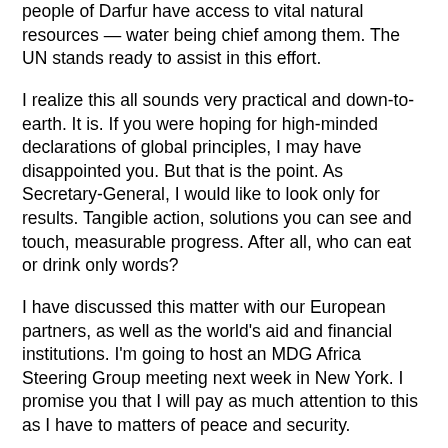people of Darfur have access to vital natural resources — water being chief among them. The UN stands ready to assist in this effort.
I realize this all sounds very practical and down-to-earth. It is. If you were hoping for high-minded declarations of global principles, I may have disappointed you. But that is the point. As Secretary-General, I would like to look only for results. Tangible action, solutions you can see and touch, measurable progress. After all, who can eat or drink only words?
I have discussed this matter with our European partners, as well as the world's aid and financial institutions. I'm going to host an MDG Africa Steering Group meeting next week in New York. I promise you that I will pay as much attention to this as I have to matters of peace and security.
I am very happy to have been able to meet with you here. It has been a pleasure speaking with you. I look forward to seeing more of your beloved country. I count on your continued support.